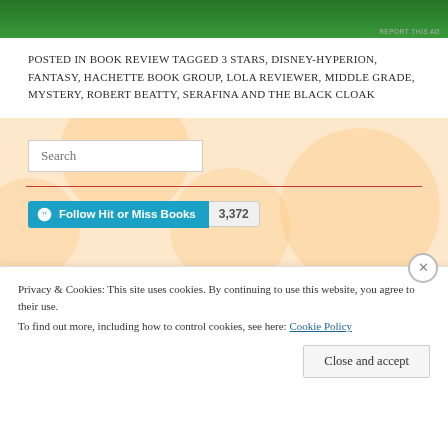[Figure (other): Green advertisement banner at the top of the page]
POSTED IN BOOK REVIEW TAGGED 3 STARS, DISNEY-HYPERION, FANTASY, HACHETTE BOOK GROUP, LOLA REVIEWER, MIDDLE GRADE, MYSTERY, ROBERT BEATTY, SERAFINA AND THE BLACK CLOAK
[Figure (screenshot): Sidebar section with peach/orange background with decorative circle patterns, containing a search box, red divider line, and Follow Hit or Miss Books button with 3,372 follower count]
Privacy & Cookies: This site uses cookies. By continuing to use this website, you agree to their use. To find out more, including how to control cookies, see here: Cookie Policy
Close and accept